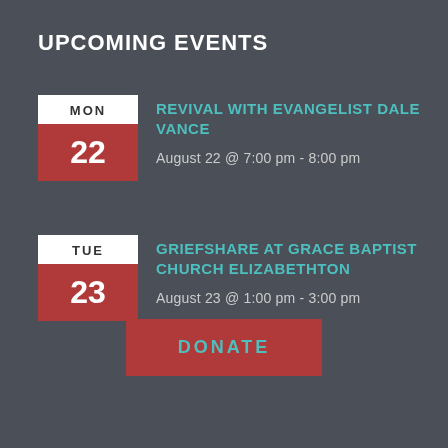UPCOMING EVENTS
MON 22 | REVIVAL WITH EVANGELIST DALE VANCE | August 22 @ 7:00 pm - 8:00 pm
TUE 23 | GRIEFSHARE AT GRACE BAPTIST CHURCH ELIZABETHTON | August 23 @ 1:00 pm - 3:00 pm
DONATE